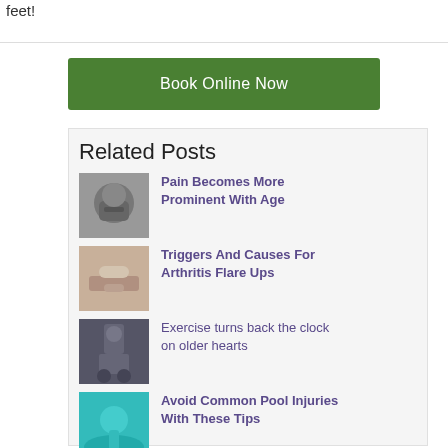feet!
Book Online Now
Related Posts
Pain Becomes More Prominent With Age
Triggers And Causes For Arthritis Flare Ups
Exercise turns back the clock on older hearts
Avoid Common Pool Injuries With These Tips